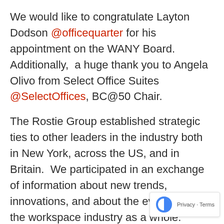We would like to congratulate Layton Dodson @officequarter for his appointment on the WANY Board. Additionally, a huge thank you to Angela Olivo from Select Office Suites @SelectOffices, BC@50 Chair.
The Rostie Group established strategic ties to other leaders in the industry both in New York, across the US, and in Britain. We participated in an exchange of information about new trends, innovations, and about the evolution of the workspace industry as a whole.
Below is Martin Senn, from our channel